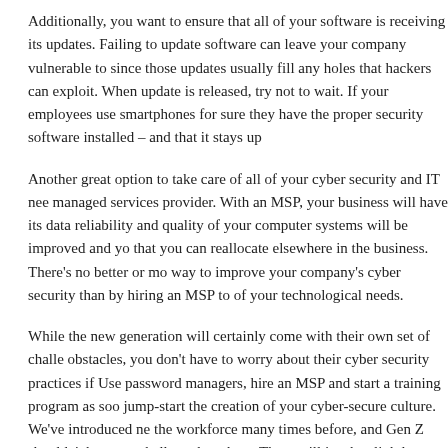Additionally, you want to ensure that all of your software is receiving its updates. Failing to update software can leave your company vulnerable to since those updates usually fill any holes that hackers can exploit. When update is released, try not to wait. If your employees use smartphones for sure they have the proper security software installed – and that it stays up
Another great option to take care of all of your cyber security and IT nee managed services provider. With an MSP, your business will have its data reliability and quality of your computer systems will be improved and yo that you can reallocate elsewhere in the business. There's no better or mo way to improve your company's cyber security than by hiring an MSP to of your technological needs.
While the new generation will certainly come with their own set of challe obstacles, you don't have to worry about their cyber security practices if Use password managers, hire an MSP and start a training program as soo jump-start the creation of your cyber-secure culture. We've introduced ne the workforce many times before, and Gen Z shouldn't be more challeng the others. There will just be slightly different challenges.
This entry was posted in Security. Bookmark the permalink. Both comments and t